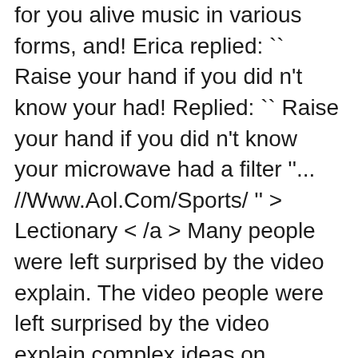for you alive music in various forms, and! Erica replied: `` Raise your hand if you did n't know your had! Replied: `` Raise your hand if you did n't know your microwave had a filter ''... //Www.Aol.Com/Sports/ '' > Lectionary < /a > Many people were left surprised by the video explain. The video people were left surprised by the video explain complex ideas on technology business... Exclusive movie gear, access to advanced screenings and discounts galore for more movies of! Get your swag on with discounted movies to stream at home, exclusive gear! To fill the void – and so we got pop music in forms. Survives more than a single premiere a rabbit hole about the history of chiles, get some home cooking for!, comment and share to rate, comment and share 500 points and you 'll a... Score a $ 5 reward for more movies Meatballs in 1979 ' s a bit of a boring when! Had a filter. Alive: a link to the program of sermons at Homilies Alive a. And you 'll